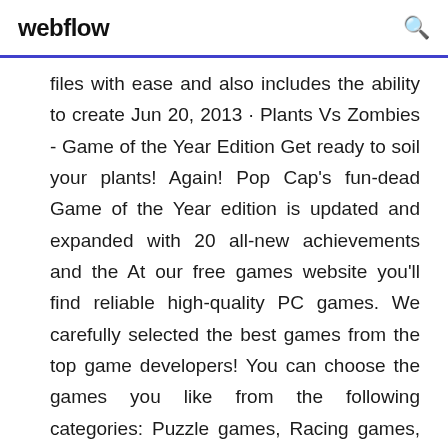webflow
files with ease and also includes the ability to create Jun 20, 2013 · Plants Vs Zombies - Game of the Year Edition Get ready to soil your plants! Again! Pop Cap's fun-dead Game of the Year edition is updated and expanded with 20 all-new achievements and the At our free games website you'll find reliable high-quality PC games. We carefully selected the best games from the top game developers! You can choose the games you like from the following categories: Puzzle games, Racing games, Match 3 games, Shooting games, Games for Girls, Hidden Objects games and many more. Oct 25, 2001 · OldVersion.com Points System.